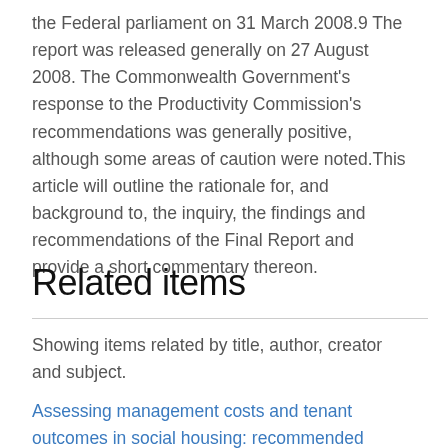the Federal parliament on 31 March 2008.9 The report was released generally on 27 August 2008. The Commonwealth Government's response to the Productivity Commission's recommendations was generally positive, although some areas of caution were noted.This article will outline the rationale for, and background to, the inquiry, the findings and recommendations of the Final Report and provide a short commentary thereon.
Related items
Showing items related by title, author, creator and subject.
Assessing management costs and tenant outcomes in social housing: recommended